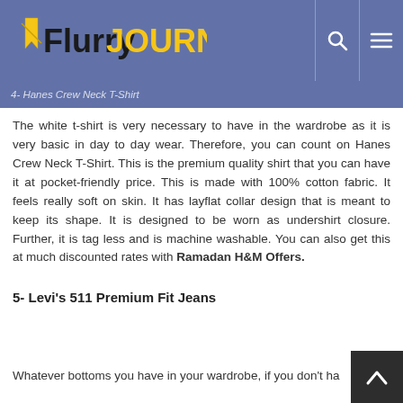Flurry JOURNAL
4- Hanes Crew Neck T-Shirt
The white t-shirt is very necessary to have in the wardrobe as it is very basic in day to day wear. Therefore, you can count on Hanes Crew Neck T-Shirt. This is the premium quality shirt that you can have it at pocket-friendly price. This is made with 100% cotton fabric. It feels really soft on skin. It has layflat collar design that is meant to keep its shape. It is designed to be worn as undershirt closure. Further, it is tag less and is machine washable. You can also get this at much discounted rates with Ramadan H&M Offers.
5- Levi’s 511 Premium Fit Jeans
Whatever bottoms you have in your wardrobe, if you don’t ha…